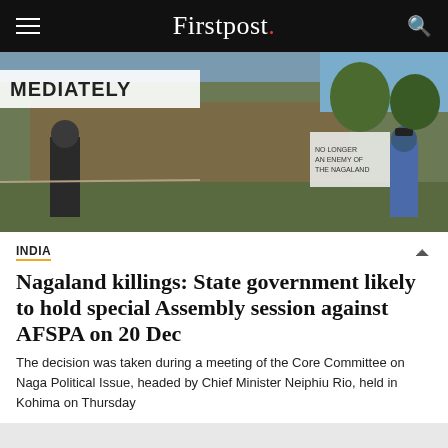Firstpost.
[Figure (photo): Protest scene outdoors, people standing near a thatched structure with a banner reading 'IMMEDIATELY' partially visible]
INDIA
Nagaland killings: State government likely to hold special Assembly session against AFSPA on 20 Dec
The decision was taken during a meeting of the Core Committee on Naga Political Issue, headed by Chief Minister Neiphiu Rio, held in Kohima on Thursday
[Figure (logo): Firstpost logo large in black on gray background, partially cropped at bottom]